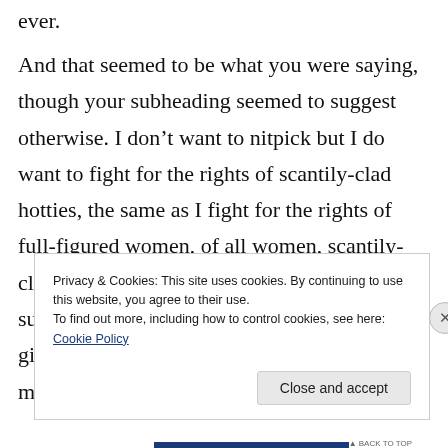ever.
And that seemed to be what you were saying, though your subheading seemed to suggest otherwise. I don’t want to nitpick but I do want to fight for the rights of scantily-clad hotties, the same as I fight for the rights of full-figured women, of all women, scantily-clad or not, regardless of shape. And that one subheading was a bit offputting, and might give the wrong idea to readers who don’t do more than skim.
Privacy & Cookies: This site uses cookies. By continuing to use this website, you agree to their use.
To find out more, including how to control cookies, see here: Cookie Policy